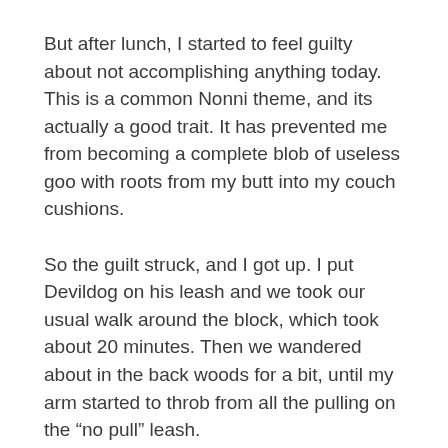But after lunch, I started to feel guilty about not accomplishing anything today. This is a common Nonni theme, and its actually a good trait. It has prevented me from becoming a complete blob of useless goo with roots from my butt into my couch cushions.
So the guilt struck, and I got up. I put Devildog on his leash and we took our usual walk around the block, which took about 20 minutes. Then we wandered about in the back woods for a bit, until my arm started to throb from all the pulling on the “no pull” leash.
I put Devildog back inside the fenced yard, and decided to do some gardening. I forgot that the gate that leads from our deck into the fenced backyard was open. I heard Devildog barking, calling to me, but I ignored him